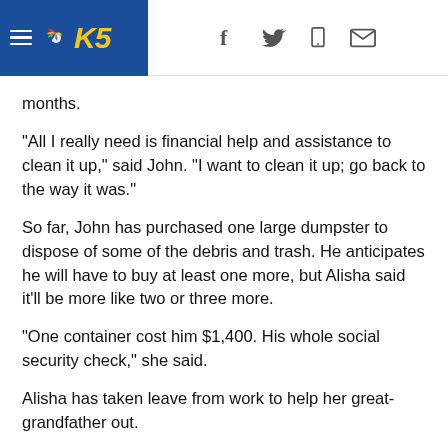KING5 News header with navigation icons
months.
"All I really need is financial help and assistance to clean it up," said John. "I want to clean it up; go back to the way it was."
So far, John has purchased one large dumpster to dispose of some of the debris and trash. He anticipates he will have to buy at least one more, but Alisha said it'll be more like two or three more.
"One container cost him $1,400. His whole social security check," she said.
Alisha has taken leave from work to help her great-grandfather out.
"It's just a lot of work, and we don't have people up here to help," she said. "We need volunteers. Anyone that is willing to come up here and help bag garbage."